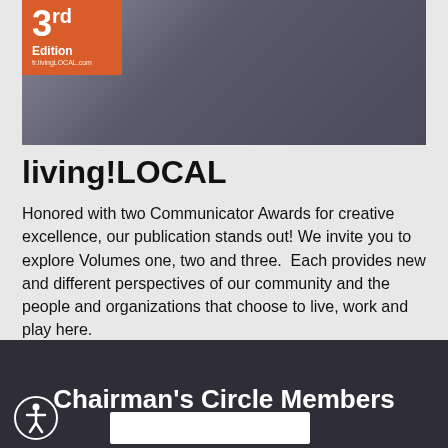[Figure (photo): Top portion of a magazine cover showing '3rd Edition' badge in orange/red on left, with dark background. Text reads '3rd Edition' and 'fr.livingLOCAL.com']
living!LOCAL
Honored with two Communicator Awards for creative excellence, our publication stands out! We invite you to explore Volumes one, two and three.  Each provides new and different perspectives of our community and the people and organizations that choose to live, work and play here.
Volumes 1,  2 and 3 and THE MAP are online.
Learn More
Chairman's Circle Members